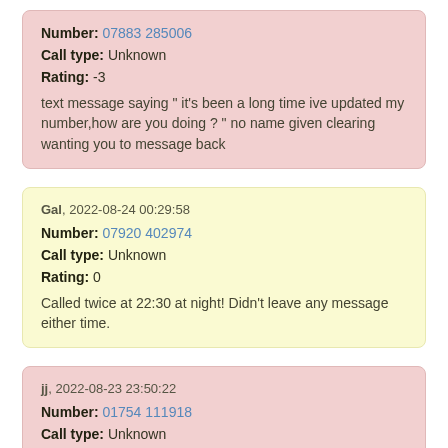Number: 07883 285006
Call type: Unknown
Rating: -3
text message saying " it's been a long time ive updated my number,how are you doing ? " no name given clearing wanting you to message back
Gal, 2022-08-24 00:29:58
Number: 07920 402974
Call type: Unknown
Rating: 0
Called twice at 22:30 at night! Didn't leave any message either time.
jj, 2022-08-23 23:50:22
Number: 01754 111918
Call type: Unknown